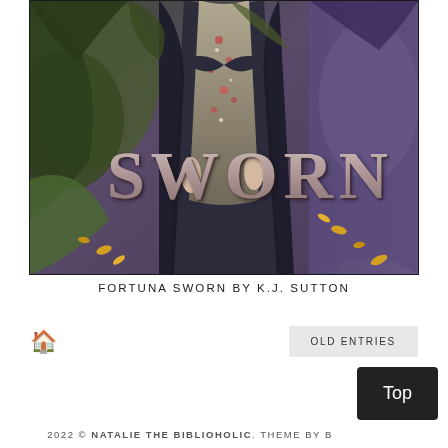[Figure (illustration): Book cover of 'Fortuna Sworn' by K.J. Sutton showing a woman in a floral dress surrounded by dark fantastical figures, with the title 'SWORN' in large stylized letters across the center.]
FORTUNA SWORN BY K.J. SUTTON
🏠
OLD ENTRIES
Top
2022 © NATALIE THE BIBLIOHOLIC. THEME BY B